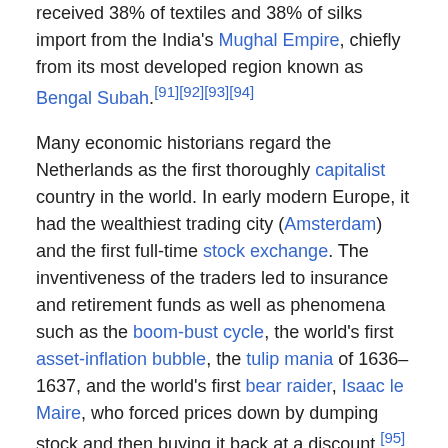received 38% of textiles and 38% of silks import from the India's Mughal Empire, chiefly from its most developed region known as Bengal Subah.[91][92][93][94]
Many economic historians regard the Netherlands as the first thoroughly capitalist country in the world. In early modern Europe, it had the wealthiest trading city (Amsterdam) and the first full-time stock exchange. The inventiveness of the traders led to insurance and retirement funds as well as phenomena such as the boom-bust cycle, the world's first asset-inflation bubble, the tulip mania of 1636–1637, and the world's first bear raider, Isaac le Maire, who forced prices down by dumping stock and then buying it back at a discount.[95] In 1672 – known in Dutch history as the Rampjaar (Disaster Year) – the Dutch Republic was at war with France, England and three German Bishoprics simultaneously. At sea, it could successfully prevent the English and French navy from entering the western shores. On land, however, it was almost taken over internally by the advancing French and German armies coming from the east. It managed to turn the tide by